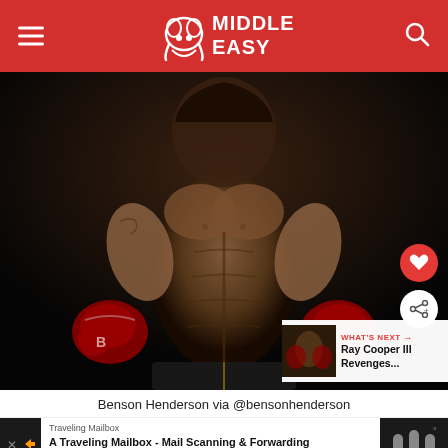Middle Easy
[Figure (photo): Benson Henderson shirtless fighter photo wearing red/maroon MMA gloves, hands on hips, dark background, with social buttons (heart, share) and a 'What's Next: Ray Cooper III Revenges...' overlay thumbnail]
Benson Henderson via @bensonhenderson
Traveling Mailbox A Traveling Mailbox - Mail Scanning & Forwarding Perfect for RVers, Travelers & Expats